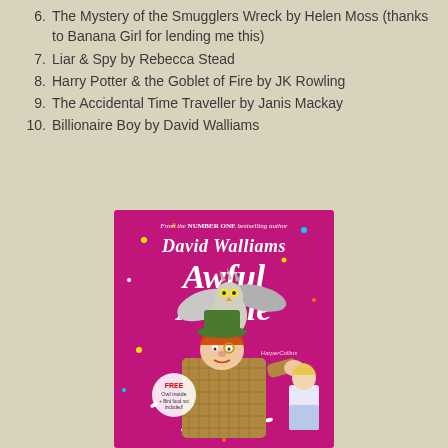6.  The Mystery of the Smugglers Wreck by Helen Moss (thanks to Banana Girl for lending me this)
7.  Liar & Spy by Rebecca Stead
8.  Harry Potter & the Goblet of Fire by JK Rowling
9.  The Accidental Time Traveller by Janis Mackay
10.  Billionaire Boy by David Walliams
[Figure (photo): Book cover of 'Awful Auntie' by David Walliams. Bright magenta/pink cover with illustrated cartoon characters including an owl and an aunt figure. Text reads: From the NUMBER ONE bestselling author, David Walliams, Awful Auntie. Sticker says FREE Owl inside + Bird food not included.]